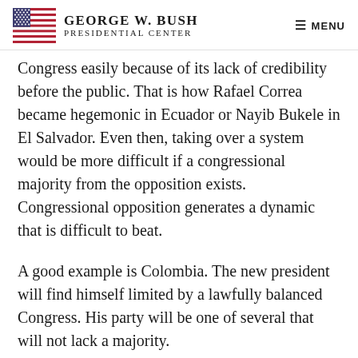George W. Bush Presidential Center | MENU
Congress easily because of its lack of credibility before the public. That is how Rafael Correa became hegemonic in Ecuador or Nayib Bukele in El Salvador. Even then, taking over a system would be more difficult if a congressional majority from the opposition exists. Congressional opposition generates a dynamic that is difficult to beat.
A good example is Colombia. The new president will find himself limited by a lawfully balanced Congress. His party will be one of several that will not lack a majority.
What role, if any, should democracies, including our own